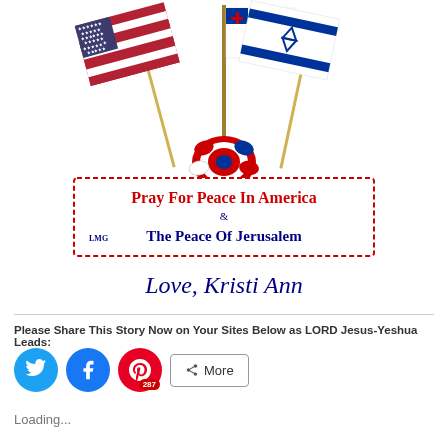[Figure (illustration): Three flags crossed: US flag on left, white Christian flag in center, Israel flag on right, with decorative red-white-blue rosette in the center. Below flags is a red dotted-border banner reading 'Pray For Peace In America & LMG The Peace Of Jerusalem'. Below that is a purple gradient banner reading 'Jesus†Saves'.]
Love, Kristi Ann
Please Share This Story Now on Your Sites Below as LORD Jesus-Yeshua Leads:
[Figure (infographic): Social share buttons: Twitter (blue circle), Facebook (blue circle), Pinterest (red circle with badge showing 287), and a More button with share icon.]
Loading...